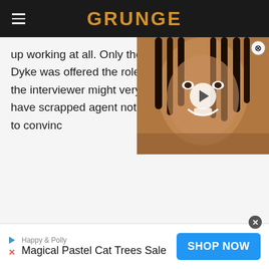GRUNGE
up working at all. Only then, Van Dyke was offered the role – though the interviewer might very well have scrapped agent not been able to convic
[Figure (photo): Video thumbnail overlay showing a man with dreadlocks smiling, with a play button in the center and a close (X) button in the top right corner]
Happy & Polly
Magical Pastel Cat Trees Sale
SHOP NOW